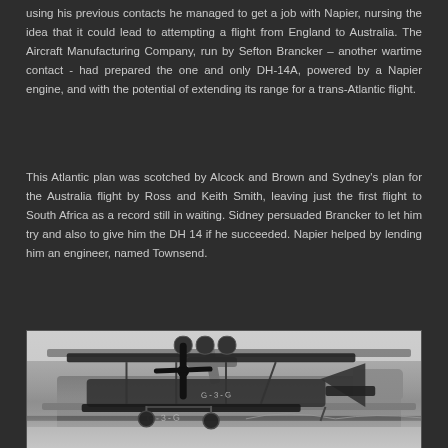using his previous contacts he managed to get a job with Napier, nursing the idea that it could lead to attempting a flight from England to Australia. The Aircraft Manufacturing Company, run by Sefton Brancker – another wartime contact - had prepared the one and only DH-14A, powered by a Napier engine, and with the potential of extending its range for a trans-Atlantic flight.
This Atlantic plan was scotched by Alcock and Brown and Sydney's plan for the Australia flight by Ross and Keith Smith, leaving just the first flight to South Africa as a record still in waiting. Sidney persuaded Brancker to let him try and also to give him the DH 14 if he succeeded. Napier helped by lending him an engineer, named Townsend.
[Figure (photo): Black and white photograph of a vintage biplane aircraft, likely the DH-14A, shown on the ground. The aircraft has a large propeller at the front, biplane wings, and a registration marking visible on the fuselage. The background shows an open landscape with a horizon line.]